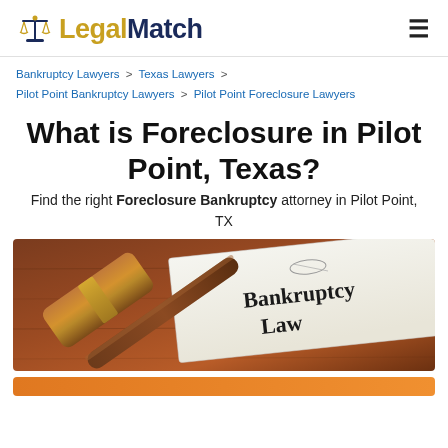LegalMatch
Bankruptcy Lawyers > Texas Lawyers > Pilot Point Bankruptcy Lawyers > Pilot Point Foreclosure Lawyers
What is Foreclosure in Pilot Point, Texas?
Find the right Foreclosure Bankruptcy attorney in Pilot Point, TX
[Figure (photo): A gavel and a document labeled 'Bankruptcy Law' on a wooden surface]
[Figure (other): Orange call-to-action button bar at bottom]